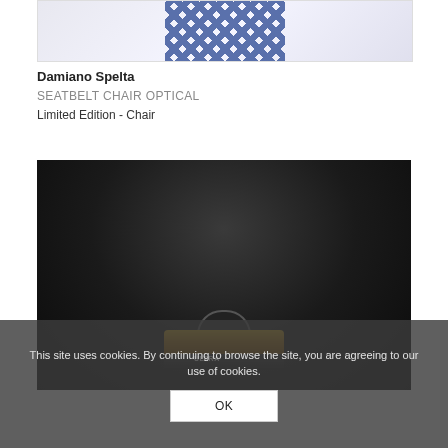[Figure (photo): Top portion of a decorative chair with optical/checkerboard pattern upholstery in blue and white, cropped at top]
Damiano Spelta
SEATBELT CHAIR OPTICAL
Limited Edition - Chair
[Figure (photo): Dark background product photo showing a film roll/canister (appears to be 'ULTRA' branded) at the bottom, dark studio setting]
This site uses cookies. By continuing to browse the site, you are agreeing to our use of cookies. OK